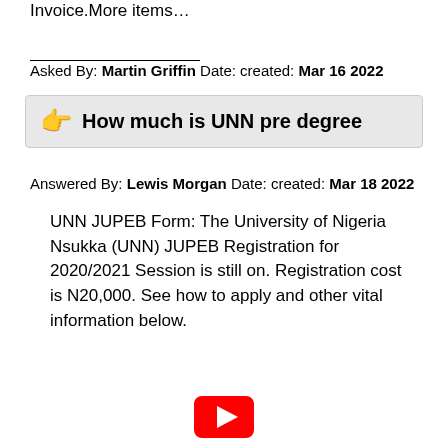Invoice.More items…
Asked By: Martin Griffin Date: created: Mar 16 2022
👉 How much is UNN pre degree
Answered By: Lewis Morgan Date: created: Mar 18 2022
UNN JUPEB Form: The University of Nigeria Nsukka (UNN) JUPEB Registration for 2020/2021 Session is still on. Registration cost is N20,000. See how to apply and other vital information below.
[Figure (logo): YouTube logo icon (red rounded rectangle with white play arrow)]